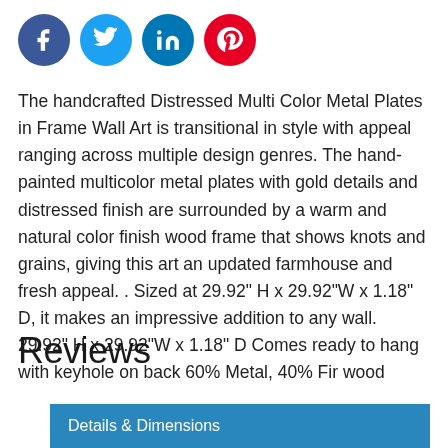[Figure (logo): Four social media icon circles: Facebook (dark blue), Twitter (light blue), LinkedIn (blue), Pinterest (red)]
The handcrafted Distressed Multi Color Metal Plates in Frame Wall Art is transitional in style with appeal ranging across multiple design genres. The hand-painted multicolor metal plates with gold details and distressed finish are surrounded by a warm and natural color finish wood frame that shows knots and grains, giving this art an updated farmhouse and fresh appeal. . Sized at 29.92" H x 29.92"W x 1.18" D, it makes an impressive addition to any wall. 29.92" H x 29.92"W x 1.18" D Comes ready to hang with keyhole on back 60% Metal, 40% Fir wood
Reviews
Details & Dimensions